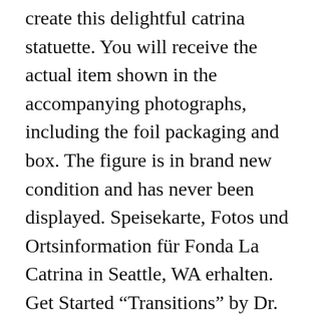create this delightful catrina statuette. You will receive the actual item shown in the accompanying photographs, including the foil packaging and box. The figure is in brand new condition and has never been displayed. Speisekarte, Fotos und Ortsinformation für Fonda La Catrina in Seattle, WA erhalten. Get Started “Transitions” by Dr. Leigh Armijo, which shows three yoga poses. La Catrina Figure La Catrina is a skeletal woman who portrays a maid dressed in her mistress’s fancy clothes for a night out. La Catrina was originally created by Jose Guadalupe Posada and later named and painted dressed up by Diego Rivera in one of his murals. Ballroom Blitz . Did you scroll all this way to get facts about catrina figurine?